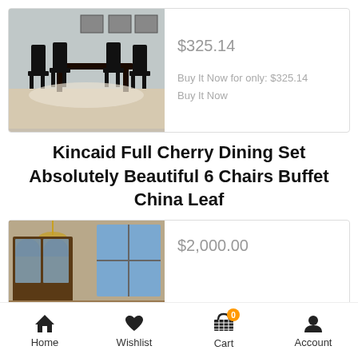[Figure (photo): Black dining table with 4 chairs in a room setting]
$325.14
Buy It Now for only: $325.14
Buy It Now
Kincaid Full Cherry Dining Set Absolutely Beautiful 6 Chairs Buffet China Leaf
[Figure (photo): Cherry wood china cabinet and dining furniture in a room with blue windows]
$2,000.00
Home   Wishlist   Cart   Account